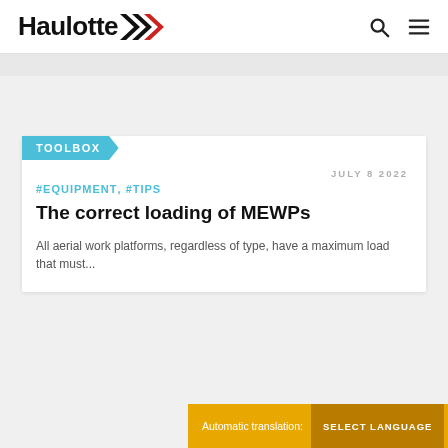Haulotte
TOOLBOX
JULY 8 2022
#EQUIPMENT, #TIPS
The correct loading of MEWPs
All aerial work platforms, regardless of type, have a maximum load that must...
Automatic translation: SELECT LANGUAGE